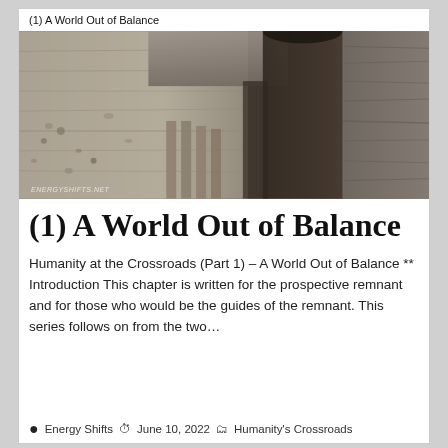(1) A World Out of Balance
[Figure (photo): Black and white photograph of ancient stone ruins with columns and an archway, watermark reading ENERGYSHIFTS.NET at bottom left]
(1) A World Out of Balance
Humanity at the Crossroads (Part 1) – A World Out of Balance ** Introduction This chapter is written for the prospective remnant and for those who would be the guides of the remnant. This series follows on from the two…
● Energy Shifts   ⏱ June 10, 2022   🗂 Humanity's Crossroads